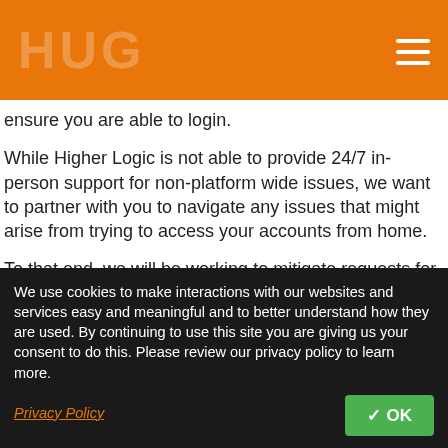HUG [hamburger menu]
ensure you are able to login.
While Higher Logic is not able to provide 24/7 in-person support for non-platform wide issues, we want to partner with you to navigate any issues that might arise from trying to access your accounts from home.
To that end, we will be working to mitigate requests for assistance on weekends (8am-8pm EST) that come in with any of the follow words in the subject line:
Access to Informz
Access to Real Magnet
We use cookies to make interactions with our websites and services easy and meaningful and to better understand how they are used. By continuing to use this site you are giving us your consent to do this. Please review our privacy policy to learn more. Privacy Policy  OK